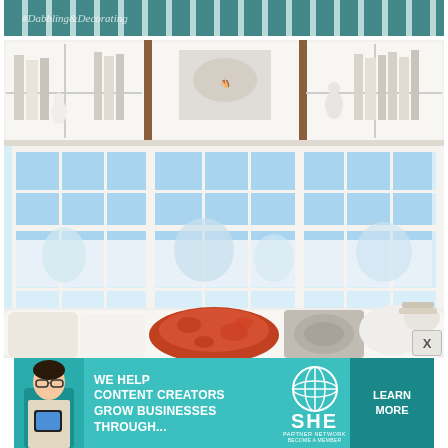[Figure (photo): Top strip showing teal and white vertical striped fabric or wallpaper with a watermark reading '#Dabbling&Decorating']
[Figure (photo): Interior living room photo featuring a white built-in bookshelf above three large white multi-pane windows. A window seat with white cushions and colorful pillows (rust/orange fluffy pillow, grey patterned pillow) is visible. Snow-covered trees and landscape are seen through the windows on a bright sunny day.]
[Figure (infographic): Advertisement banner for SHE Partner Network. Teal background. Left: photo of a woman with glasses holding a tablet. Center text: 'WE HELP CONTENT CREATORS GROW BUSINESSES THROUGH...' with SHE Partner Network logo and 'BECOME A MEMBER'. Right: dark teal button reading 'LEARN MORE'.]